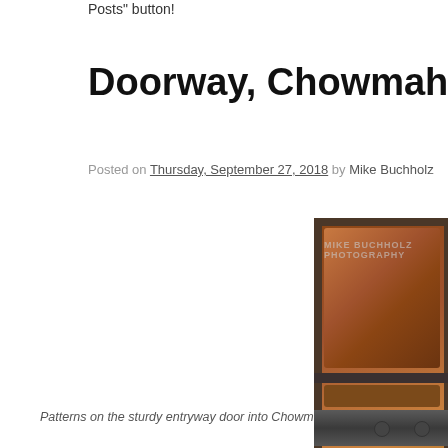Posts" button!
Doorway, Chowmahalla Palace; Hydera...
Posted on Thursday, September 27, 2018 by Mike Buchholz
[Figure (photo): Close-up photograph of a large ornate wooden door with raised panels arranged in a grid pattern, reinforced with a metal strap with rivets across the middle. Watermark reads MIKE BUCHHOLZ PHOTOGRAPHY.]
Patterns on the sturdy entryway door into Chowmahalla Palace